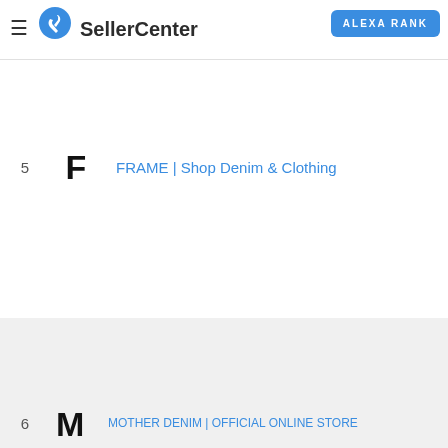SellerCenter — ALEXA RANK
5  F  FRAME | Shop Denim & Clothing
[Figure (logo): Partial footer row with brand logo M and truncated link text MOTHER DENIM | OFFICIAL ONLINE STORE]